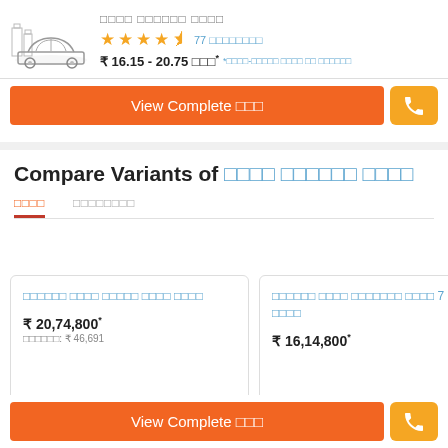[Figure (illustration): Sketch/outline drawing of a sedan car with city buildings in background]
□□□□ □□□□□□ □□□□
★★★★½ 77 □□□□□□□□
₹ 16.15 - 20.75 □□□* *□□□□-□□□□□ □□□□ □□ □□□□□□
View Complete □□□
Compare Variants of □□□□ □□□□□□ □□□□
□□□□	□□□□□□□□
□□□□□□ □□□□ □□□□□ □□□□ □□□□
₹ 20,74,800* □□□□□□: ₹ 46,691
□□□□□□ □□□□ □□□□□□□ □□□□ 7 □□□□
₹ 16,14,800*
View Complete □□□